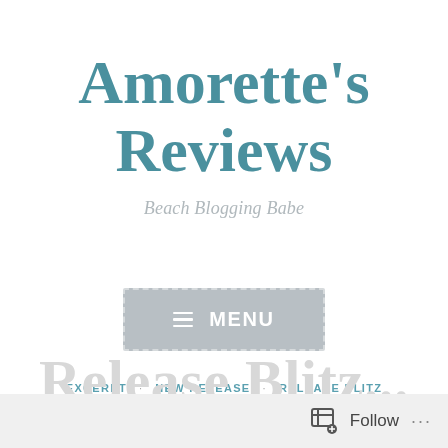Amorette's Reviews
Beach Blogging Babe
[Figure (other): Menu button: gray rounded rectangle with dashed border containing hamburger icon and text MENU]
EXCERPT · NEW RELEASE · RELEASE BLITZ
Follow ...